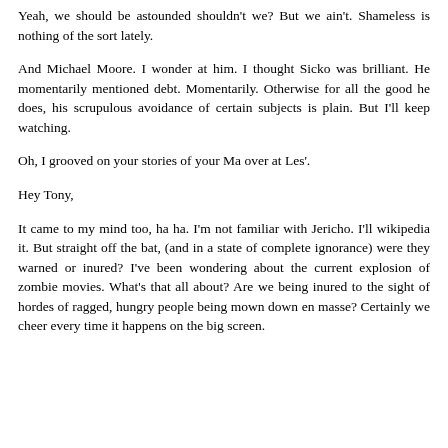Yeah, we should be astounded shouldn't we? But we ain't. Shameless is nothing of the sort lately.
And Michael Moore. I wonder at him. I thought Sicko was brilliant. He momentarily mentioned debt. Momentarily. Otherwise for all the good he does, his scrupulous avoidance of certain subjects is plain. But I'll keep watching.
Oh, I grooved on your stories of your Ma over at Les'.
Hey Tony,
It came to my mind too, ha ha. I'm not familiar with Jericho. I'll wikipedia it. But straight off the bat, (and in a state of complete ignorance) were they warned or inured? I've been wondering about the current explosion of zombie movies. What's that all about? Are we being inured to the sight of hordes of ragged, hungry people being mown down en masse? Certainly we cheer every time it happens on the big screen.